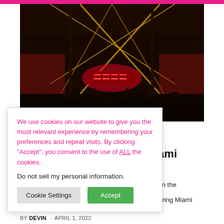[Figure (photo): Dark nightclub/concert venue with crowd, stage lighting including crossed beams of light and red neon signage in the background]
We use cookies on our website to give you the most relevant experience by remembering your preferences and repeat visits. By clicking “Accept”, you consent to the use of ALL the cookies.
Do not sell my personal information.
iami
g in the
during Miami
BY DEVIN · APRIL 1, 2022